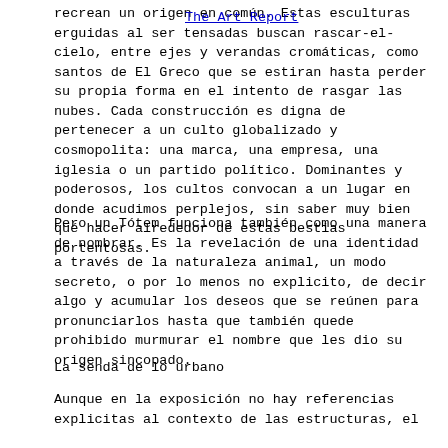recrean un origen en común. Estas esculturas erguidas al ser tensadas buscan rascar-el-cielo, entre ejes y verandas cromáticas, como santos de El Greco que se estiran hasta perder su propia forma en el intento de rasgar las nubes. Cada construcción es digna de pertenecer a un culto globalizado y cosmopolita: una marca, una empresa, una iglesia o un partido político. Dominantes y poderosos, los cultos convocan a un lugar en donde acudimos perplejos, sin saber muy bien qué hacer alrededor de estas bestias portentosas.
Pero un Tótem funciona también como una manera de nombrar. Es la revelación de una identidad a través de la naturaleza animal, un modo secreto, o por lo menos no explicito, de decir algo y acumular los deseos que se reúnen para pronunciarlos hasta que también quede prohibido murmurar el nombre que les dio su origen sincopado.
La senda de lo urbano
Aunque en la exposición no hay referencias explicitas al contexto de las estructuras, el